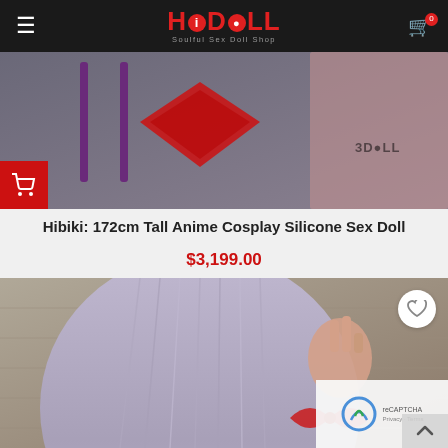HiDoll — Soulful Sex Doll Shop
[Figure (photo): Product image of Hibiki anime cosplay silicone sex doll with purple hair accessories and red bow, showing costume detail with HiDoll watermark. Red add-to-cart button in bottom-left corner.]
Hibiki: 172cm Tall Anime Cosplay Silicone Sex Doll
$3,199.00
[Figure (photo): Product image showing top/back view of doll with silver-lavender hair, hand making peace/victory sign gesture near head, with red ribbon. Wishlist heart button in top-right corner. reCAPTCHA widget and scroll-up arrow visible in bottom-right corner.]